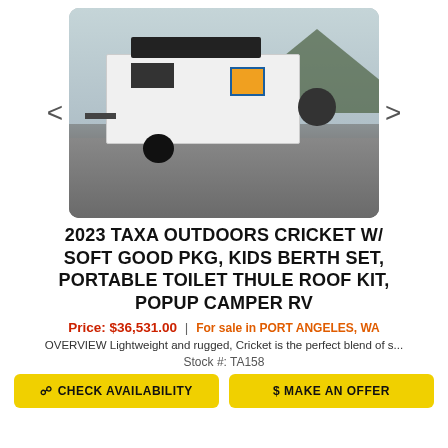[Figure (photo): Photo of a 2023 TAXA Outdoors Cricket popup camper RV, white with black accents, shown in a parking lot with trees in background. Navigation arrows on left and right sides.]
2023 TAXA OUTDOORS CRICKET W/ SOFT GOOD PKG, KIDS BERTH SET, PORTABLE TOILET THULE ROOF KIT, POPUP CAMPER RV
Price: $36,531.00 | For sale in PORT ANGELES, WA
OVERVIEW Lightweight and rugged, Cricket is the perfect blend of s...
Stock #: TA158
CHECK AVAILABILITY
$ MAKE AN OFFER